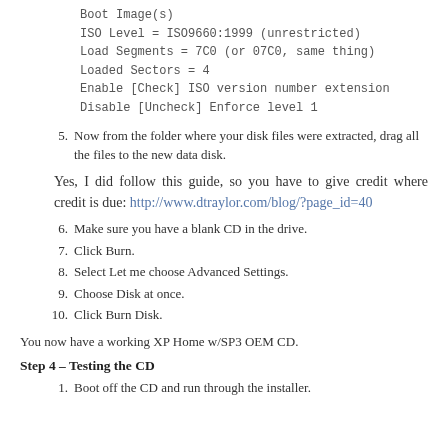ISO Level = ISO9660:1999 (unrestricted)
Load Segments = 7C0 (or 07C0, same thing)
Loaded Sectors = 4
Enable [Check] ISO version number extension
Disable [Uncheck] Enforce level 1
5. Now from the folder where your disk files were extracted, drag all the files to the new data disk.
Yes, I did follow this guide, so you have to give credit where credit is due: http://www.dtraylor.com/blog/?page_id=40
6. Make sure you have a blank CD in the drive.
7. Click Burn.
8. Select Let me choose Advanced Settings.
9. Choose Disk at once.
10. Click Burn Disk.
You now have a working XP Home w/SP3 OEM CD.
Step 4 – Testing the CD
1. Boot off the CD and run through the installer.